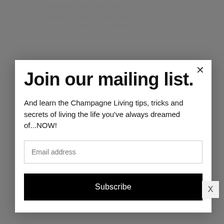posts more, 'pop'. Your content is excellent but with pics and video clips, this website could definitely
Join our mailing list.
And learn the Champagne Living tips, tricks and secrets of living the life you've always dreamed of...NOW!
Email address
Subscribe
go to the strategy to go these and